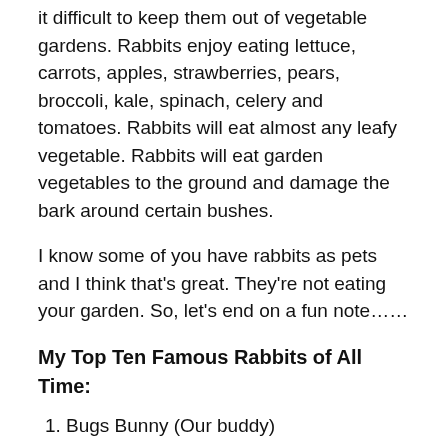it difficult to keep them out of vegetable gardens. Rabbits enjoy eating lettuce, carrots, apples, strawberries, pears, broccoli, kale, spinach, celery and tomatoes. Rabbits will eat almost any leafy vegetable. Rabbits will eat garden vegetables to the ground and damage the bark around certain bushes.
I know some of you have rabbits as pets and I think that's great. They're not eating your garden. So, let's end on a fun note……
My Top Ten Famous Rabbits of All Time:
Bugs Bunny (Our buddy)
Rabbit (Winnie the Pooh)
Thumper (Bambi)
Velveteen Rabbit (my favorite)
Peter Cottontail (Thornton Burgess)